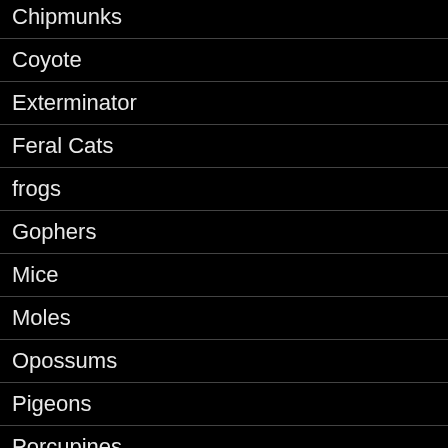Chipmunks
Coyote
Exterminator
Feral Cats
frogs
Gophers
Mice
Moles
Opossums
Pigeons
Porcupines
Possum
Rabbits